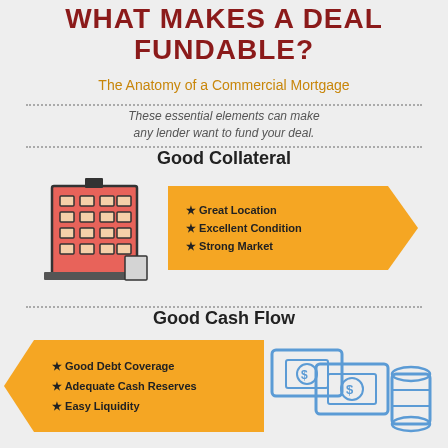WHAT MAKES A DEAL FUNDABLE?
The Anatomy of a Commercial Mortgage
These essential elements can make any lender want to fund your deal.
Good Collateral
[Figure (infographic): Red/salmon illustrated commercial building icon]
[Figure (infographic): Orange arrow banner pointing right with bullet points: Great Location, Excellent Condition, Strong Market]
Good Cash Flow
[Figure (infographic): Orange arrow banner pointing right (left-pointing) with bullet points: Good Debt Coverage, Adequate Cash Reserves, Easy Liquidity]
[Figure (infographic): Blue illustrated money/cash icons (bills and coins)]